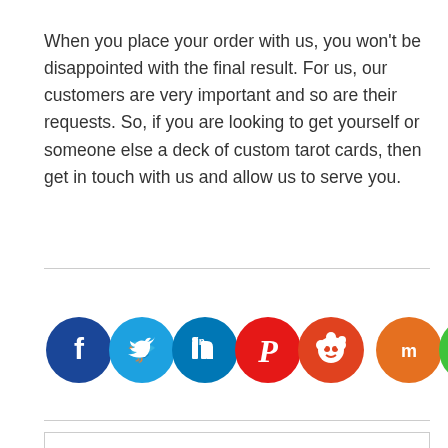When you place your order with us, you won't be disappointed with the final result. For us, our customers are very important and so are their requests. So, if you are looking to get yourself or someone else a deck of custom tarot cards, then get in touch with us and allow us to serve you.
[Figure (infographic): Row of social media sharing icons: Facebook (dark blue), Twitter (light blue), LinkedIn (blue), Pinterest (red), Reddit (orange-red), Mix (orange), WhatsApp (green), Share (orange)]